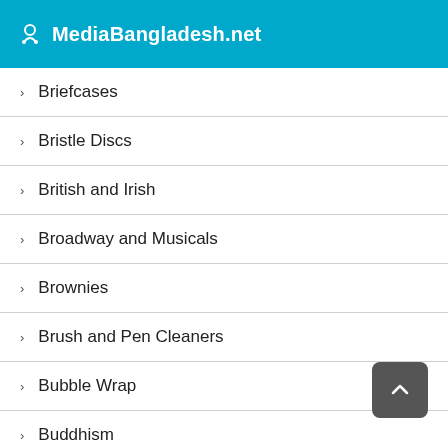MediaBangladesh.net
Briefcases
Bristle Discs
British and Irish
Broadway and Musicals
Brownies
Brush and Pen Cleaners
Bubble Wrap
Buddhism
Budgeting and Money Management
Buffing and Polishing Accessories